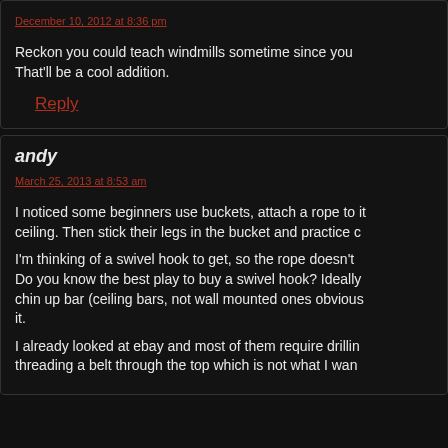December 10, 2012 at 8:36 pm
Reckon you could teach windmills sometime since you That’ll be a cool addition.
Reply
andy
March 25, 2013 at 8:53 am
I noticed some beginners use buckets, attach a rope to it ceiling. Then stick their legs in the bucket and practice c
I’m thinking of a swivel hook to get, so the rope doesn’t Do you know the best play to buy a swivel hook? Ideally chin up bar (ceiling bars, not wall mounted ones obvious it.
I already looked at ebay and most of them require drillin threading a belt through the top which is not what I wan